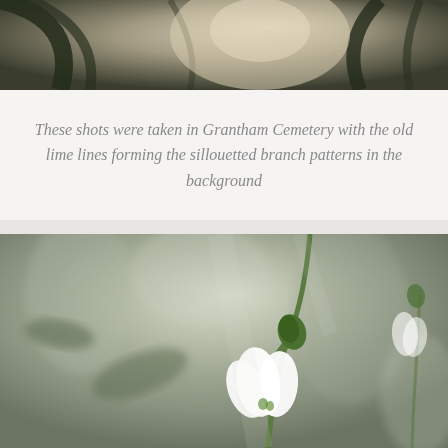[Figure (photo): Close-up macro photograph of snowdrop flowers with dark silhouetted tree branches in the background, taken at Grantham Cemetery. Soft bokeh background with lime/tree branch patterns visible.]
These shots were taken in Grantham Cemetery with the old lime lines forming the sillouetted branch patterns in the background
[Figure (photo): Close-up macro photograph of a single snowdrop flower in bloom, white drooping petals with green tip, soft muted green and grey bokeh background. Taken at Grantham Cemetery.]